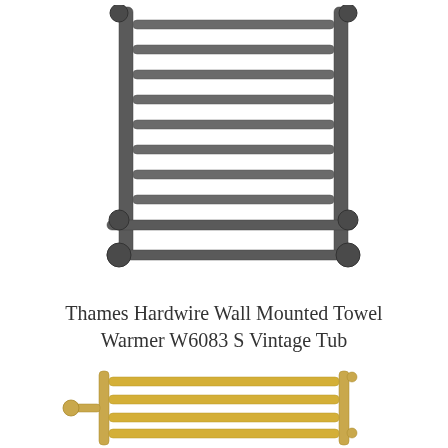[Figure (photo): Chrome/dark finish wall mounted towel warmer radiator with multiple horizontal bars, viewed at an angle, showing partial right side cut off. Classic vintage style with round corner connectors.]
Thames Hardwire Wall Mounted Towel Warmer W6083 S Vintage Tub
[Figure (photo): Gold/brass finish wall mounted towel warmer radiator with 5 horizontal bars, viewed slightly from the front, compact size.]